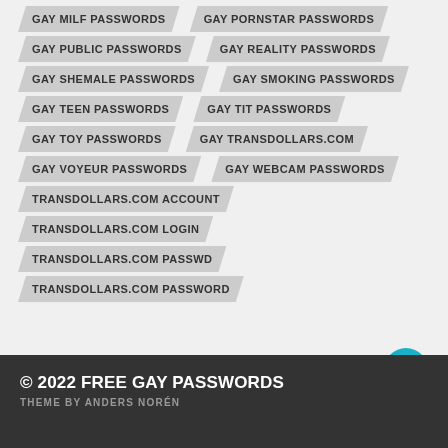GAY MILF PASSWORDS
GAY PORNSTAR PASSWORDS
GAY PUBLIC PASSWORDS
GAY REALITY PASSWORDS
GAY SHEMALE PASSWORDS
GAY SMOKING PASSWORDS
GAY TEEN PASSWORDS
GAY TIT PASSWORDS
GAY TOY PASSWORDS
GAY TRANSDOLLARS.COM
GAY VOYEUR PASSWORDS
GAY WEBCAM PASSWORDS
TRANSDOLLARS.COM ACCOUNT
TRANSDOLLARS.COM LOGIN
TRANSDOLLARS.COM PASSWD
TRANSDOLLARS.COM PASSWORD
© 2022 FREE GAY PASSWORDS
THEME BY ANDERS NORÉN